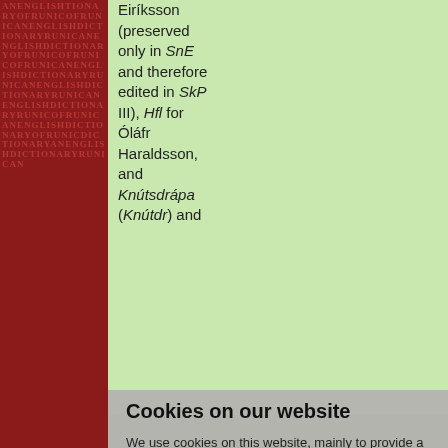[Figure (other): Decorative red left strip with runic/text pattern]
Eiríksson (preserved only in SnE and therefore edited in SkP III), Hfl for Óláfr Haraldsson, and Knútsdrápa (Knútdr) and Lv 2 for Knútr. It has, moreover, been suggested that one stanza in this book may have been used as a skaldic or pagan poem...
Cookies on our website
We use cookies on this website, mainly to provide a secure browsing experience but also to collect statistics on how the website is used. You can find out more about the cookies we set, the information we store and how we use it on the cookies page.
Continue